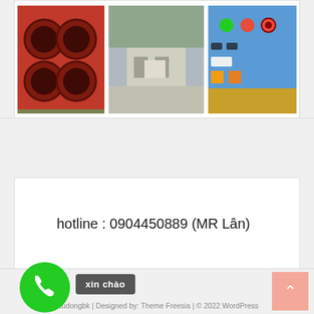[Figure (photo): Three photos in a row: orange industrial washing/drying machines, a building exterior courtyard, and a control panel with buttons]
hotline : 0904450889 (MR Lân)
utudongbk | Designed by: Theme Freesia | © 2022 WordPress
[Figure (illustration): Green circular phone button]
xin chào